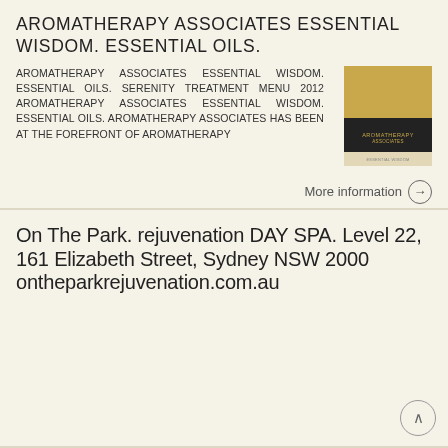AROMATHERAPY ASSOCIATES ESSENTIAL WISDOM. ESSENTIAL OILS.
AROMATHERAPY ASSOCIATES ESSENTIAL WISDOM. ESSENTIAL OILS. SERENITY TREATMENT MENU 2012 AROMATHERAPY ASSOCIATES ESSENTIAL WISDOM. ESSENTIAL OILS. AROMATHERAPY ASSOCIATES HAS BEEN AT THE FOREFRONT OF AROMATHERAPY
[Figure (photo): Book cover for Aromatherapy Associates Essential Wisdom]
More information →
On The Park. rejuvenation DAY SPA. Level 22, 161 Elizabeth Street, Sydney NSW 2000 ontheparkrejuvenation.com.au
On The Park rejuvenation DAY SPA Level 22, 161 Elizabeth Street, Sydney NSW 2000 ontheparkrejuvenation.com.au 02 9286 6830 On The Park rejuvenation DAY SPA A warm welcome to On The Park Rejuvenation Day
[Figure (photo): Spa interior photo for On The Park rejuvenation DAY SPA]